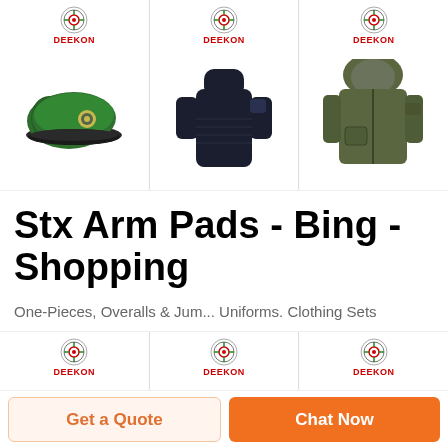[Figure (screenshot): Top row of three product images from Deekon: green military beret, dark navy sweater, olive military jacket, each with Deekon logo above]
Stx Arm Pads - Bing - Shopping
One-Pieces, Overalls & Jum... Uniforms. Clothing Sets
[Figure (screenshot): Bottom row of three product images from Deekon: brown rope/strap, camouflage pants, yellow safety vest with teal accent, each with Deekon logo above]
Get a Quote
Chat Now